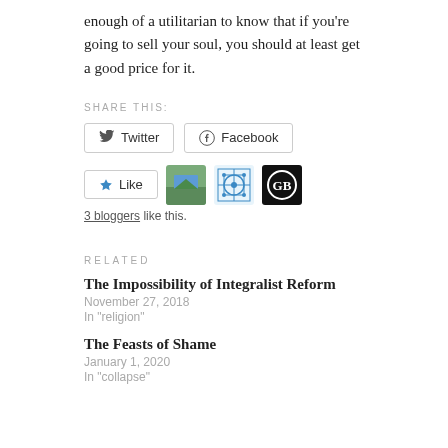enough of a utilitarian to know that if you're going to sell your soul, you should at least get a good price for it.
SHARE THIS:
[Figure (other): Twitter and Facebook share buttons, then a Like button with three blogger avatars]
3 bloggers like this.
RELATED
The Impossibility of Integralist Reform
November 27, 2018
In "religion"
The Feasts of Shame
January 1, 2020
In "collapse"